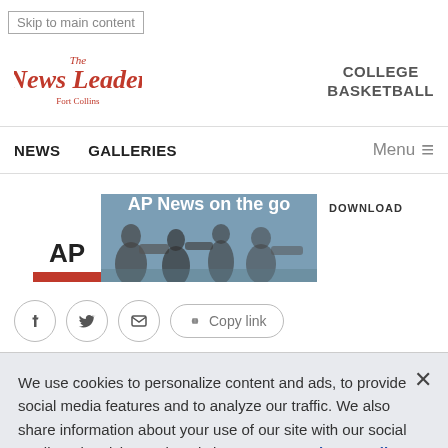Skip to main content
[Figure (logo): The News Leader newspaper logo in red gothic font]
COLLEGE BASKETBALL
NEWS   GALLERIES   Menu
[Figure (screenshot): AP News on the go advertisement banner with DOWNLOAD button]
Facebook, Twitter, Email, Copy link social share buttons
We use cookies to personalize content and ads, to provide social media features and to analyze our traffic. We also share information about your use of our site with our social media, advertising and analytics partners. Privacy Policy